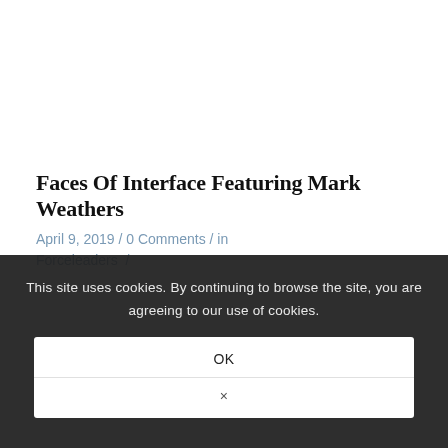Faces Of Interface Featuring Mark Weathers
April 9, 2019 / 0 Comments / in Forceleaders /
This site uses cookies. By continuing to browse the site, you are agreeing to our use of cookies.
OK
×